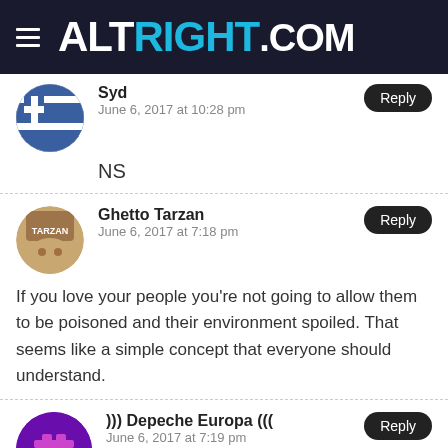ALTRIGHT.COM
Syd
June 6, 2017 at 10:28 pm
NS
Ghetto Tarzan
June 6, 2017 at 7:18 pm
If you love your people you're not going to allow them to be poisoned and their environment spoiled. That seems like a simple concept that everyone should understand.
))) Depeche Europa (((
June 6, 2017 at 7:19 pm
CO2 is NOT a Pollutant.